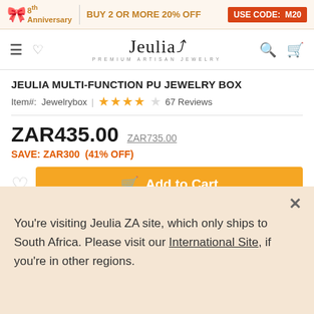8th Anniversary | BUY 2 OR MORE 20% OFF USE CODE: M20
[Figure (logo): Jeulia Premium Artisan Jewelry logo with hamburger menu, heart, search, and cart icons]
JEULIA MULTI-FUNCTION PU JEWELRY BOX
Item#: Jewelrybox | ★★★★☆ 67 Reviews
ZAR435.00  ZAR735.00
SAVE: ZAR300  (41% OFF)
Add to Cart
You're visiting Jeulia ZA site, which only ships to South Africa. Please visit our International Site, if you're in other regions.